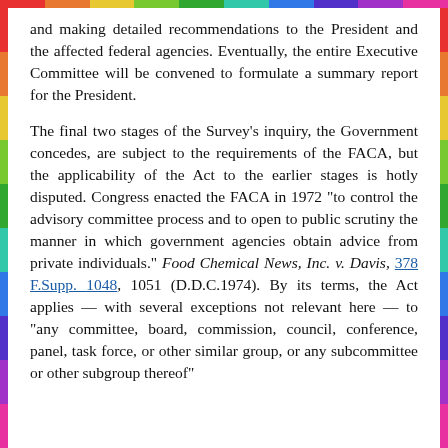and making detailed recommendations to the President and the affected federal agencies. Eventually, the entire Executive Committee will be convened to formulate a summary report for the President.
The final two stages of the Survey's inquiry, the Government concedes, are subject to the requirements of the FACA, but the applicability of the Act to the earlier stages is hotly disputed. Congress enacted the FACA in 1972 "to control the advisory committee process and to open to public scrutiny the manner in which government agencies obtain advice from private individuals." Food Chemical News, Inc. v. Davis, 378 F.Supp. 1048, 1051 (D.D.C.1974). By its terms, the Act applies — with several exceptions not relevant here — to "any committee, board, commission, council, conference, panel, task force, or other similar group, or any subcommittee or other subgroup thereof"